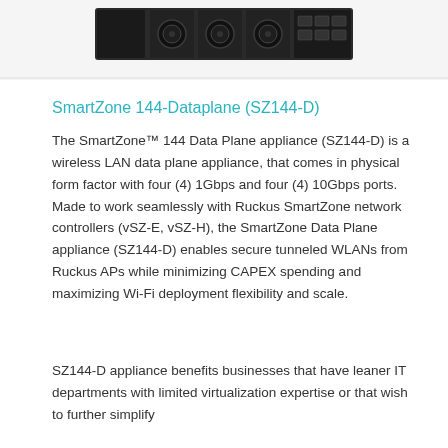[Figure (photo): Rear view of a rack-mounted network appliance device showing fan modules and ports]
SmartZone 144-Dataplane (SZ144-D)
The SmartZone™ 144 Data Plane appliance (SZ144-D) is a wireless LAN data plane appliance, that comes in physical form factor with four (4) 1Gbps and four (4) 10Gbps ports. Made to work seamlessly with Ruckus SmartZone network controllers (vSZ-E, vSZ-H), the SmartZone Data Plane appliance (SZ144-D) enables secure tunneled WLANs from Ruckus APs while minimizing CAPEX spending and maximizing Wi-Fi deployment flexibility and scale.
SZ144-D appliance benefits businesses that have leaner IT departments with limited virtualization expertise or that wish to further simplify